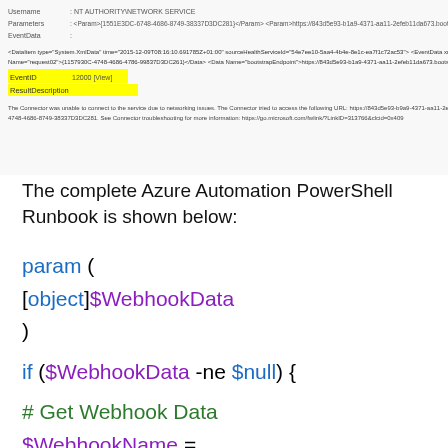[Figure (screenshot): Screenshot of Azure connector error output showing XML/event data with highlighted fields EventID and ResultDescription, and error message about connector unable to connect to service due to networking issues.]
The complete Azure Automation PowerShell Runbook is shown below:
param (
[object]$WebhookData
)

if ($WebhookData -ne $null) {

# Get Webhook Data
$WebhookName = $WebhookData.WebhookName
$WebhookHeaders = $WebhookData.RequestHeader
$WebhookBody = $WebhookData.RequestBody